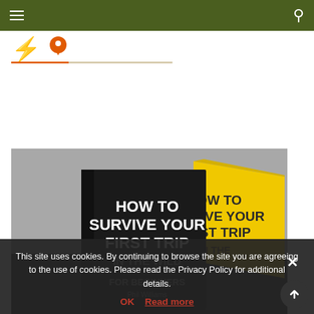Navigation bar with hamburger menu and search icon
[Figure (logo): Lightning bolt and map pin icons with orange underline — website logo area]
[Figure (illustration): Book cover illustration showing 'HOW TO SURVIVE YOUR FIRST TRIP IN THE WILD FOR BEGINNERS' with yellow book on gray background]
This site uses cookies. By continuing to browse the site you are agreeing to the use of cookies. Please read the Privacy Policy for additional details.
OK   Read more